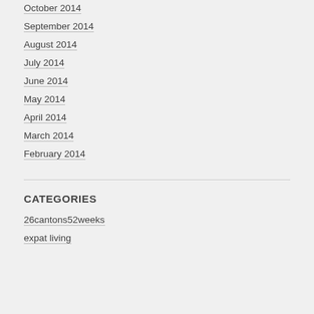October 2014
September 2014
August 2014
July 2014
June 2014
May 2014
April 2014
March 2014
February 2014
CATEGORIES
26cantons52weeks
expat living